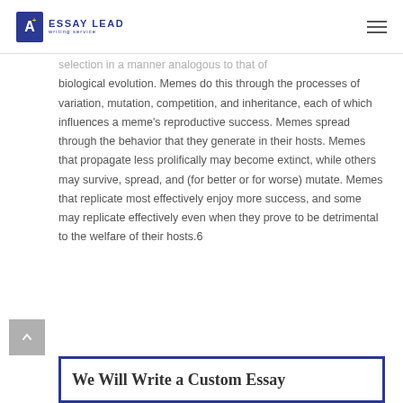ESSAY LEAD writing service
selection in a manner analogous to that of biological evolution. Memes do this through the processes of variation, mutation, competition, and inheritance, each of which influences a meme's reproductive success. Memes spread through the behavior that they generate in their hosts. Memes that propagate less prolifically may become extinct, while others may survive, spread, and (for better or for worse) mutate. Memes that replicate most effectively enjoy more success, and some may replicate effectively even when they prove to be detrimental to the welfare of their hosts.6
We Will Write a Custom Essay